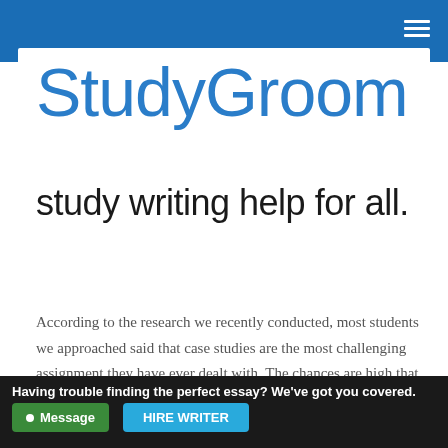StudyGroom website header with navigation hamburger menu
[Figure (logo): StudyGroom logo in blue text on white background]
study writing help for all.
According to the research we recently conducted, most students we approached said that case studies are the most challenging assignment they have ever dealt with. The chances are high that
Having trouble finding the perfect essay? We've got you covered. Message | HIRE WRITER